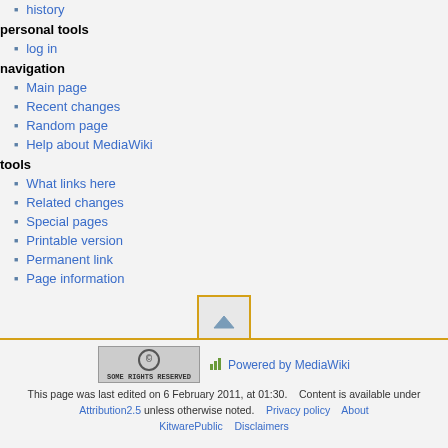history
personal tools
log in
navigation
Main page
Recent changes
Random page
Help about MediaWiki
tools
What links here
Related changes
Special pages
Printable version
Permanent link
Page information
[Figure (other): Scroll to top button with upward triangle arrow, orange border]
[Figure (logo): Creative Commons Some Rights Reserved badge]
[Figure (logo): Powered by MediaWiki badge]
This page was last edited on 6 February 2011, at 01:30.    Content is available under Attribution2.5 unless otherwise noted.    Privacy policy    About KitwarePublic    Disclaimers